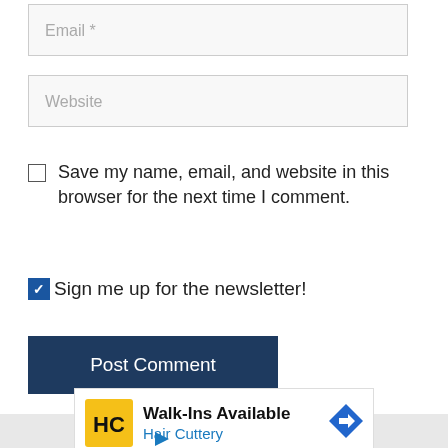Email *
Website
Save my name, email, and website in this browser for the next time I comment.
Sign me up for the newsletter!
Post Comment
[Figure (infographic): Advertisement banner for Hair Cuttery showing Walk-Ins Available text with logo and navigation arrow icon]